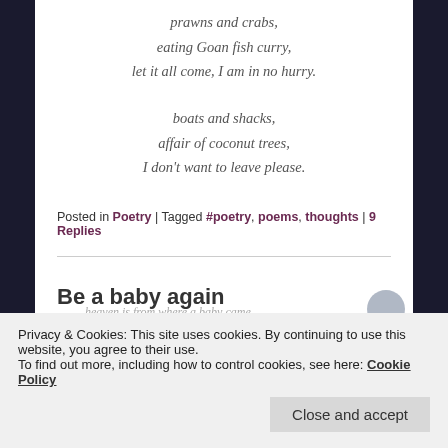prawns and crabs,
eating Goan fish curry,
let it all come, I am in no hurry.
boats and shacks,
affair of coconut trees,
I don't want to leave please.
Posted in Poetry | Tagged #poetry, poems, thoughts | 9 Replies
Be a baby again
Privacy & Cookies: This site uses cookies. By continuing to use this website, you agree to their use.
To find out more, including how to control cookies, see here: Cookie Policy
heaven is from where a baby came.